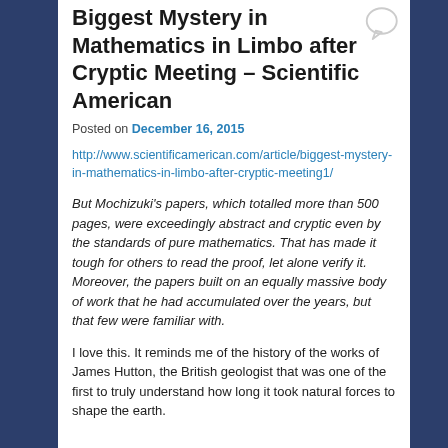Biggest Mystery in Mathematics in Limbo after Cryptic Meeting – Scientific American
Posted on December 16, 2015
http://www.scientificamerican.com/article/biggest-mystery-in-mathematics-in-limbo-after-cryptic-meeting1/
But Mochizuki's papers, which totalled more than 500 pages, were exceedingly abstract and cryptic even by the standards of pure mathematics. That has made it tough for others to read the proof, let alone verify it. Moreover, the papers built on an equally massive body of work that he had accumulated over the years, but that few were familiar with.
I love this. It reminds me of the history of the works of James Hutton, the British geologist that was one of the first to truly understand how long it took natural forces to shape the earth.